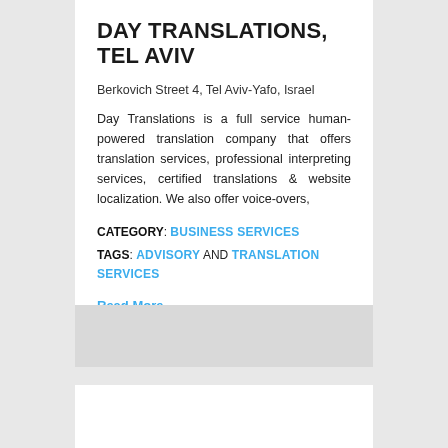DAY TRANSLATIONS, TEL AVIV
Berkovich Street 4, Tel Aviv-Yafo, Israel
Day Translations is a full service human-powered translation company that offers translation services, professional interpreting services, certified translations & website localization. We also offer voice-overs,
CATEGORY: BUSINESS SERVICES
TAGS: ADVISORY AND TRANSLATION SERVICES
Read More